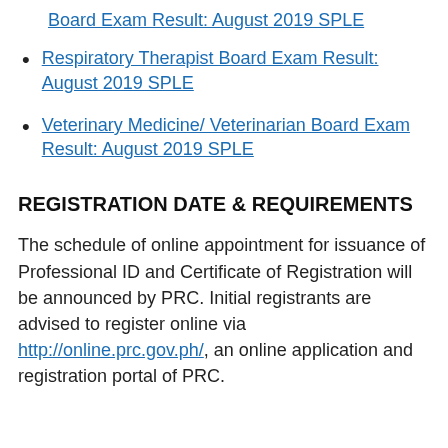Board Exam Result: August 2019 SPLE
Respiratory Therapist Board Exam Result: August 2019 SPLE
Veterinary Medicine/ Veterinarian Board Exam Result: August 2019 SPLE
REGISTRATION DATE & REQUIREMENTS
The schedule of online appointment for issuance of Professional ID and Certificate of Registration will be announced by PRC. Initial registrants are advised to register online via http://online.prc.gov.ph/, an online application and registration portal of PRC.